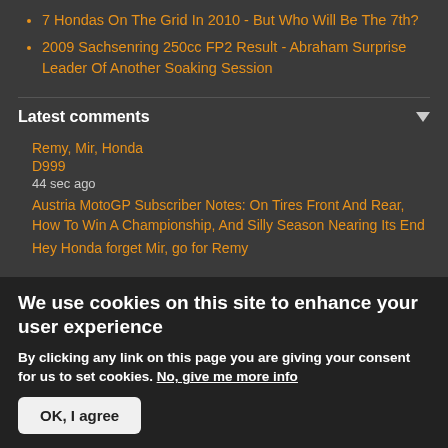7 Hondas On The Grid In 2010 - But Who Will Be The 7th?
2009 Sachsenring 250cc FP2 Result - Abraham Surprise Leader Of Another Soaking Session
Latest comments
Remy, Mir, Honda
D999
44 sec ago
Austria MotoGP Subscriber Notes: On Tires Front And Rear, How To Win A Championship, And Silly Season Nearing Its End
Hey Honda forget Mir, go for Remy
We use cookies on this site to enhance your user experience
By clicking any link on this page you are giving your consent for us to set cookies. No, give me more info
OK, I agree